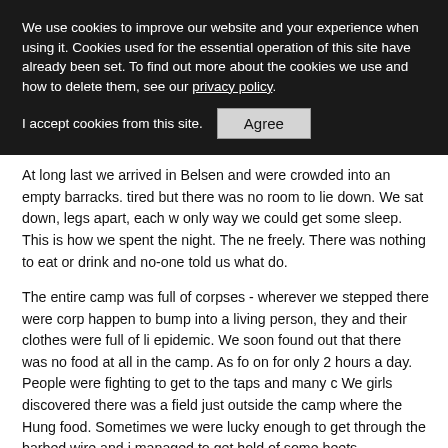We use cookies to improve our website and your experience when using it. Cookies used for the essential operation of this site have already been set. To find out more about the cookies we use and how to delete them, see our privacy policy.
I accept cookies from this site. [Agree]
At long last we arrived in Belsen and were crowded into an empty barracks. tired but there was no room to lie down. We sat down, legs apart, each w only way we could get some sleep. This is how we spent the night. The ne freely. There was nothing to eat or drink and no-one told us what do.
The entire camp was full of corpses - wherever we stepped there were corp happen to bump into a living person, they and their clothes were full of li epidemic. We soon found out that there was no food at all in the camp. As fo on for only 2 hours a day. People were fighting to get to the taps and many c We girls discovered there was a field just outside the camp where the Hung food. Sometimes we were lucky enough to get through the barbed wire and i managed to get hold of some beets.
Two days after our arrival we noticed that the SS-Guards were putting strips they obviously knew they would have to surrender. Our spirits soared. The disappeared and our spirits sank again. We could hear the noise of canon ar